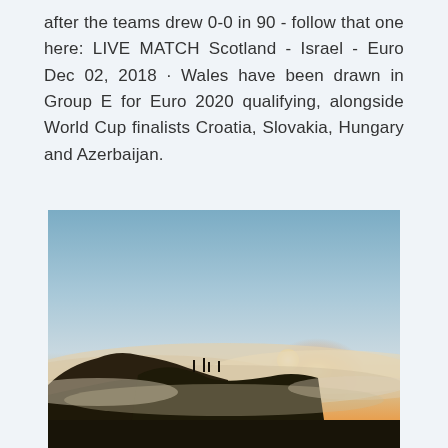after the teams drew 0-0 in 90 - follow that one here: LIVE MATCH Scotland - Israel - Euro Dec 02, 2018 · Wales have been drawn in Group E for Euro 2020 qualifying, alongside World Cup finalists Croatia, Slovakia, Hungary and Azerbaijan.
[Figure (photo): A landscape photo showing a sunset or sunrise over foggy mountains. A glowing sun is visible low on the horizon, with misty clouds surrounding dark forested hillsides. The sky transitions from warm orange near the horizon to cool blue-grey higher up.]